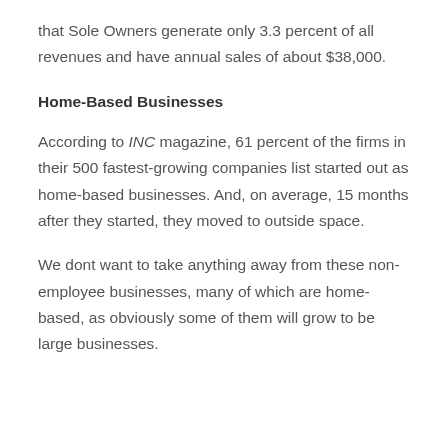that Sole Owners generate only 3.3 percent of all revenues and have annual sales of about $38,000.
Home-Based Businesses
According to INC magazine, 61 percent of the firms in their 500 fastest-growing companies list started out as home-based businesses. And, on average, 15 months after they started, they moved to outside space.
We dont want to take anything away from these non-employee businesses, many of which are home-based, as obviously some of them will grow to be large businesses.